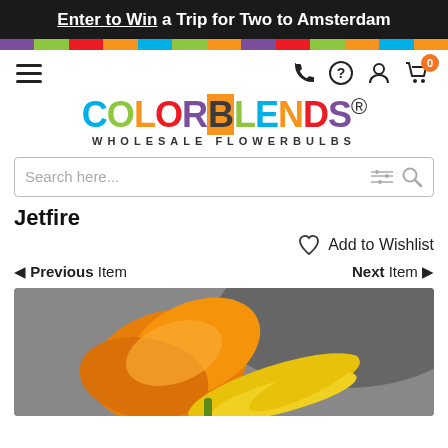Enter to Win a Trip for Two to Amsterdam
[Figure (logo): COLORBLENDS Wholesale Flowerbulbs logo with multicolored letters]
Search here...
Jetfire
Add to Wishlist
◄ Previous Item   Next Item ►
[Figure (photo): Close-up photo of a yellow and orange daffodil/narcissus flower (Jetfire variety) against a grey background]